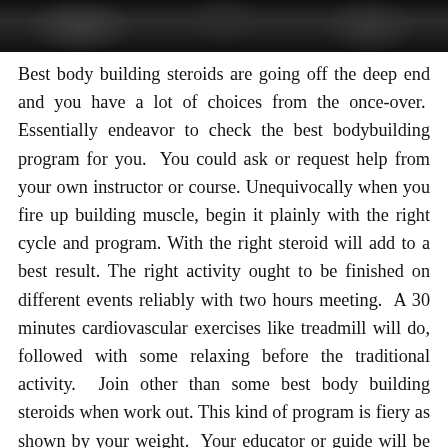[Figure (photo): Dark photo strip at top of page showing bodybuilding/fitness imagery, mostly dark tones]
Best body building steroids are going off the deep end and you have a lot of choices from the once-over. Essentially endeavor to check the best bodybuilding program for you. You could ask or request help from your own instructor or course. Unequivocally when you fire up building muscle, begin it plainly with the right cycle and program. With the right steroid will add to a best result. The right activity ought to be finished on different events reliably with two hours meeting. A 30 minutes cardiovascular exercises like treadmill will do, followed with some relaxing before the traditional activity. Join other than some best body building steroids when work out. This kind of program is fiery as shown by your weight. Your educator or guide will be the one to propose what kind of diet program that will fitting for you. It